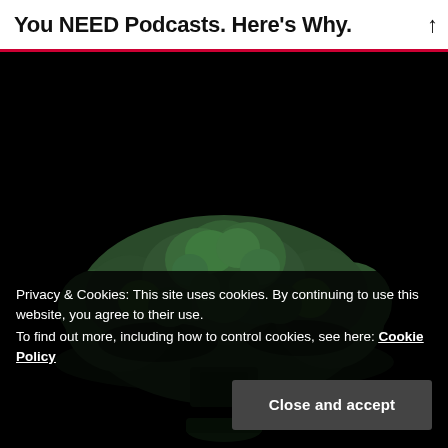You NEED Podcasts. Here's Why.
[Figure (photo): A head of broccoli photographed against a dark/black background, dramatically lit. A small bowl or container is partially visible at the bottom center.]
Privacy & Cookies: This site uses cookies. By continuing to use this website, you agree to their use.
To find out more, including how to control cookies, see here: Cookie Policy
Close and accept